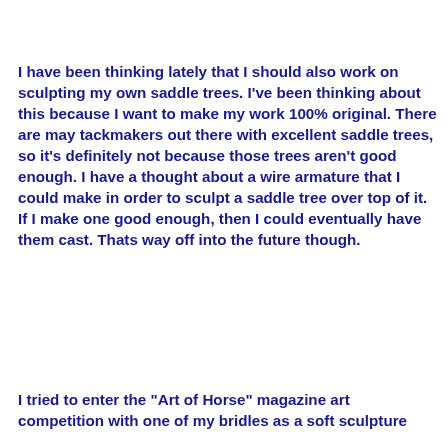I have been thinking lately that I should also work on sculpting my own saddle trees. I've been thinking about this because I want to make my work 100% original. There are may tackmakers out there with excellent saddle trees, so it's definitely not because those trees aren't good enough. I have a thought about a wire armature that I could make in order to sculpt a saddle tree over top of it. If I make one good enough, then I could eventually have them cast. Thats way off into the future though.
I tried to enter the "Art of Horse" magazine art competition with one of my bridles as a soft sculpture